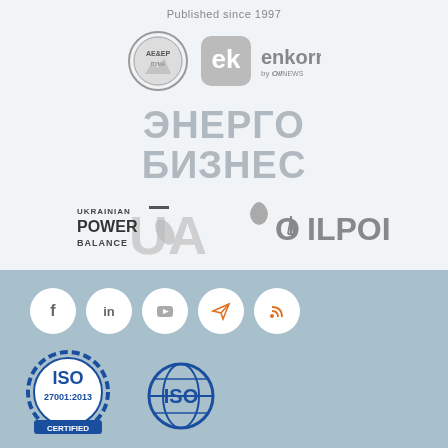Published since 1997
[Figure (logo): AEsEP circular seal logo]
[Figure (logo): ek enkorr by OilNews logo]
[Figure (logo): ЭНЕРГОБИЗНЕС Cyrillic logo in grey]
[Figure (logo): Ukrainian Power Balance UA logo]
[Figure (logo): OilPoint drop and derrick logo]
[Figure (logo): Facebook social icon circle]
[Figure (logo): LinkedIn social icon circle]
[Figure (logo): YouTube social icon circle]
[Figure (logo): Telegram social icon circle]
[Figure (logo): RSS feed social icon circle]
[Figure (logo): ISO 27001:2013 certification badge]
[Figure (logo): ISO globe certification logo]